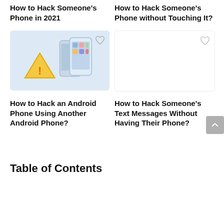How to Hack Someone's Phone in 2021
How to Hack Someone's Phone without Touching It?
[Figure (photo): Faded blue-tinted illustration of smartphones with app icons and a warning triangle icon]
[Figure (other): Empty light image placeholder with heart/favorite icon]
How to Hack an Android Phone Using Another Android Phone?
How to Hack Someone's Text Messages Without Having Their Phone?
Table of Contents